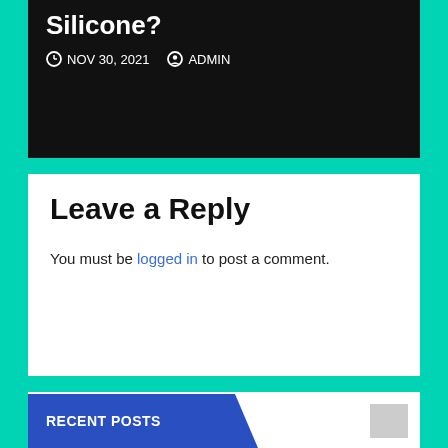Silicone?
NOV 30, 2021   ADMIN
Leave a Reply
You must be logged in to post a comment.
[Figure (screenshot): Search input box with blue search button]
RECENT POSTS